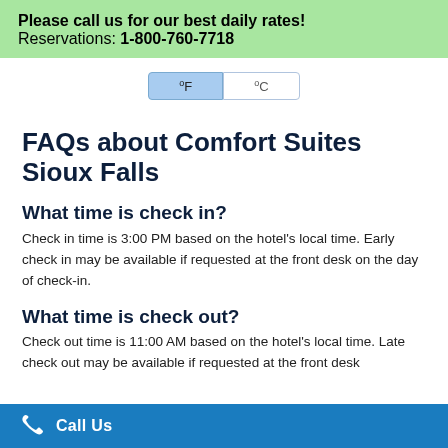Please call us for our best daily rates! Reservations: 1-800-760-7718
[Figure (other): Temperature unit toggle buttons showing °F (active/selected) and °C (inactive)]
FAQs about Comfort Suites Sioux Falls
What time is check in?
Check in time is 3:00 PM based on the hotel's local time. Early check in may be available if requested at the front desk on the day of check-in.
What time is check out?
Check out time is 11:00 AM based on the hotel's local time. Late check out may be available if requested at the front desk during your stay.
Call Us